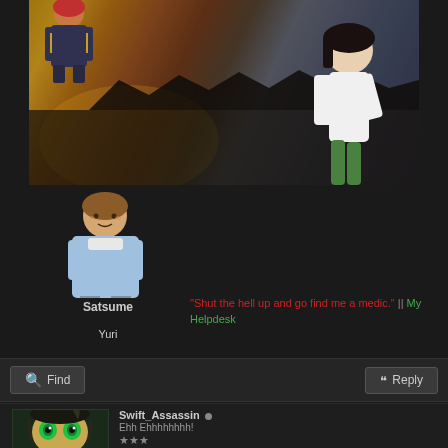[Figure (illustration): Anime banner image with warm golden-orange sky, dark silhouetted cityscape/landscape, and an anime girl character in white on the right side. Watermark text 'WyvernSlayer' visible.]
[Figure (illustration): Small red-haired anime character sprite above the banner.]
[Figure (illustration): Brown-haired anime character avatar (Satsume) below the banner, with light blue clothing and white scarf.]
Satsume
"Shut the hell up and go find me a medic." || My Helpdesk
Yuri
Find
Reply
[Figure (illustration): Close-up anime character with bright green eyes and dark hair/leaf-like details. Avatar for Swift_Assassin.]
Swift_Assassin
Ehh Ehhhhhhhh!
★★★